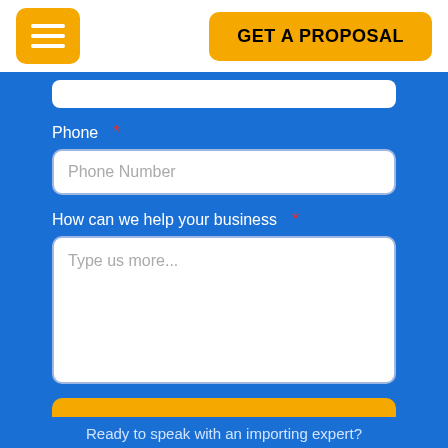GET A PROPOSAL
Phone *
Phone Number
How can we help your business *
Type us more...
Hear From An Expert
Ready to speak with an importing expert?